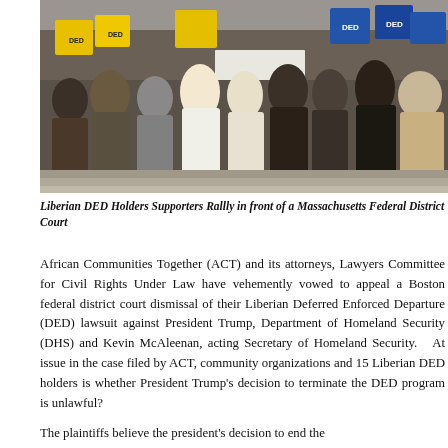[Figure (photo): Group of Liberian DED Holders Supporters holding signs and rallying in front of a Massachusetts Federal District Court]
Liberian DED Holders Supporters Rallly in front of a Massachusetts Federal District Court
African Communities Together (ACT) and its attorneys, Lawyers Committee for Civil Rights Under Law have vehemently vowed to appeal a Boston federal district court dismissal of their Liberian Deferred Enforced Departure (DED) lawsuit against President Trump, Department of Homeland Security (DHS) and Kevin McAleenan, acting Secretary of Homeland Security.   At issue in the case filed by ACT, community organizations and 15 Liberian DED holders is whether President Trump's decision to terminate the DED program is unlawful?
The plaintiffs believe the president's decision to end the